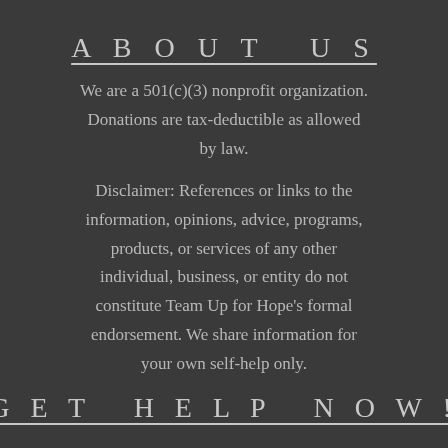ABOUT US
We are a 501(c)(3) nonprofit organization. Donations are tax-deductible as allowed by law.
Disclaimer: References or links to the information, opinions, advice, programs, products, or services of any other individual, business, or entity do not constitute Team Up for Hope's formal endorsement. We share information for your own self-help only.
GET HELP NOW!